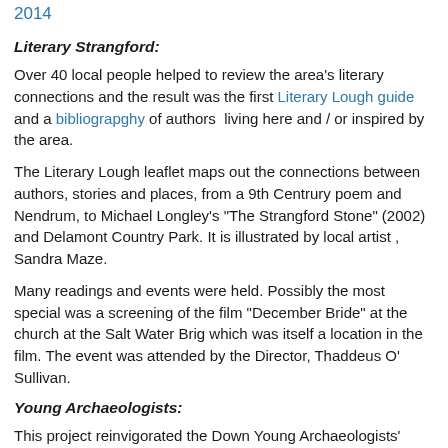2014
Literary Strangford:
Over 40 local people helped to review the area's literary connections and the result was the first Literary Lough guide and a bibliograpghy of authors  living here and / or inspired by the area.
The Literary Lough leaflet maps out the connections between authors, stories and places, from a 9th Centrury poem and Nendrum, to Michael Longley's "The Strangford Stone" (2002) and Delamont Country Park. It is illustrated by local artist , Sandra Maze.
Many readings and events were held. Possibly the most special was a screening of the film "December Bride" at the church at the Salt Water Brig which was itself a location in the film. The event was attended by the Director, Thaddeus O' Sullivan.
Young Archaeologists:
This project reinvigorated the Down Young Archaeologists'